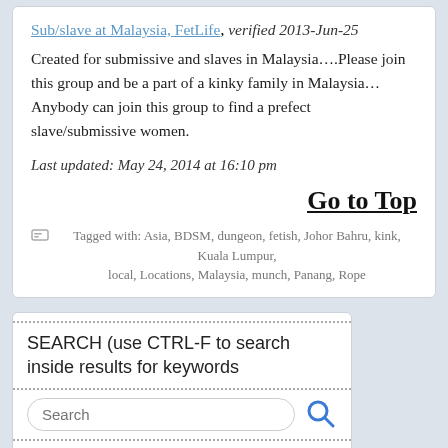Sub/slave at Malaysia, FetLife, verified 2013-Jun-25
Created for submissive and slaves in Malaysia….Please join this group and be a part of a kinky family in Malaysia…Anybody can join this group to find a prefect slave/submissive women.
Last updated: May 24, 2014 at 16:10 pm
Go to Top
Tagged with: Asia, BDSM, dungeon, fetish, Johor Bahru, kink, Kuala Lumpur, local, Locations, Malaysia, munch, Panang, Rope
SEARCH (use CTRL-F to search inside results for keywords
Search
LOCATION: Scroll ↓down↓ to your location (country-state-province-territory)